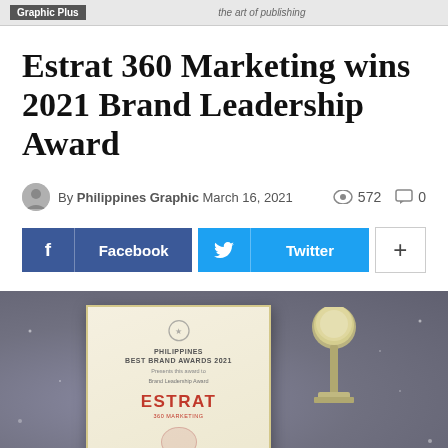Graphic Plus — the art of publishing
Estrat 360 Marketing wins 2021 Brand Leadership Award
By Philippines Graphic March 16, 2021 — 572 views, 0 comments
[Figure (screenshot): Social sharing buttons: Facebook, Twitter, and a plus button]
[Figure (photo): Photo showing a Philippines Best Brand Awards 2021 certificate for ESTRAT 360 Marketing and a trophy on a dark bokeh background]